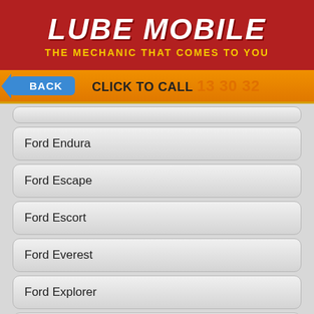LUBE MOBILE — THE MECHANIC THAT COMES TO YOU
BACK | CLICK TO CALL 13 30 32
Ford Endura
Ford Escape
Ford Escort
Ford Everest
Ford Explorer
Ford F100
Ford F150
Ford F250